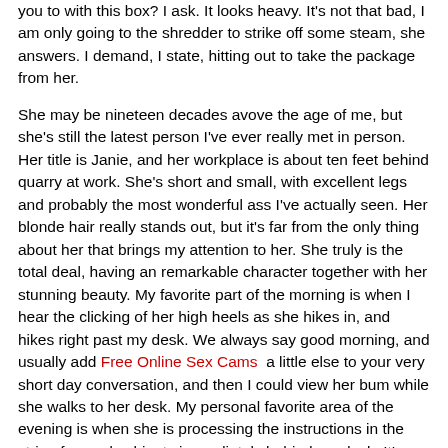you to with this box? I ask. It looks heavy. It's not that bad, I am only going to the shredder to strike off some steam, she answers. I demand, I state, hitting out to take the package from her.
She may be nineteen decades avove the age of me, but she's still the latest person I've ever really met in person. Her title is Janie, and her workplace is about ten feet behind quarry at work. She's short and small, with excellent legs and probably the most wonderful ass I've actually seen. Her blonde hair really stands out, but it's far from the only thing about her that brings my attention to her. She truly is the total deal, having an remarkable character together with her stunning beauty. My favorite part of the morning is when I hear the clicking of her high heels as she hikes in, and hikes right past my desk. We always say good morning, and usually add Free Online Sex Cams a little else to your very short day conversation, and then I could view her bum while she walks to her desk. My personal favorite area of the evening is when she is processing the instructions in the strip of record cabinets immediately behind my desk. It's difficult to concentrate when she is bent over, featuring her amazing butt down just like the trophy it is. You might have